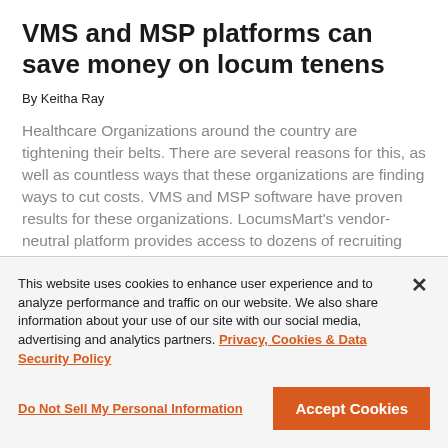VMS and MSP platforms can save money on locum tenens
By Keitha Ray
Healthcare Organizations around the country are tightening their belts. There are several reasons for this, as well as countless ways that these organizations are finding ways to cut costs. VMS and MSP software have proven results for these organizations. LocumsMart's vendor-neutral platform provides access to dozens of recruiting agencies for
This website uses cookies to enhance user experience and to analyze performance and traffic on our website. We also share information about your use of our site with our social media, advertising and analytics partners. Privacy, Cookies & Data Security Policy
Do Not Sell My Personal Information
Accept Cookies